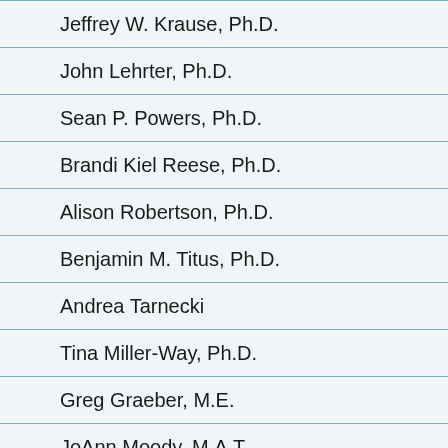Jeffrey W. Krause, Ph.D.
John Lehrter, Ph.D.
Sean P. Powers, Ph.D.
Brandi Kiel Reese, Ph.D.
Alison Robertson, Ph.D.
Benjamin M. Titus, Ph.D.
Andrea Tarnecki
Tina Miller-Way, Ph.D.
Greg Graeber, M.E.
JoAnn Moody, M.A.T.
Rachel McDonald, M.S.
Virginia Driskell, M.S.
Angela Dixon, M.S.